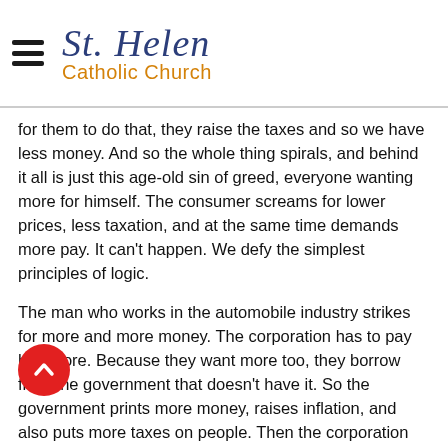St. Helen Catholic Church
for them to do that, they raise the taxes and so we have less money. And so the whole thing spirals, and behind it all is just this age-old sin of greed, everyone wanting more for himself. The consumer screams for lower prices, less taxation, and at the same time demands more pay. It can't happen. We defy the simplest principles of logic.
The man who works in the automobile industry strikes for more and more money. The corporation has to pay him more. Because they want more too, they borrow from the government that doesn't have it. So the government prints more money, raises inflation, and also puts more taxes on people. Then the corporation raises the car prices. to pay back the government and so it goes. And it all gets passed on to us.
e get more taxes, more inflated wages, more of everything we don't want and sometimes less of what we do want. And it's all really driven by greed, and I think a failure to understand the value and the